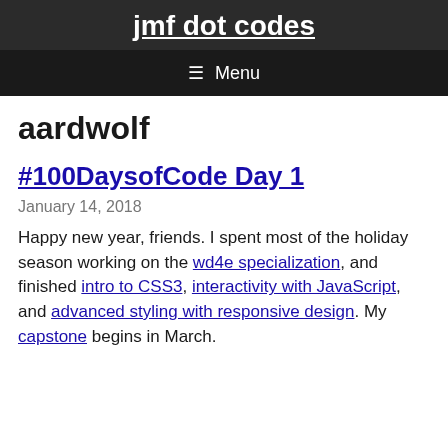jmf dot codes
≡ Menu
aardwolf
#100DaysofCode Day 1
January 14, 2018
Happy new year, friends. I spent most of the holiday season working on the wd4e specialization, and finished intro to CSS3, interactivity with JavaScript, and advanced styling with responsive design. My capstone begins in March.